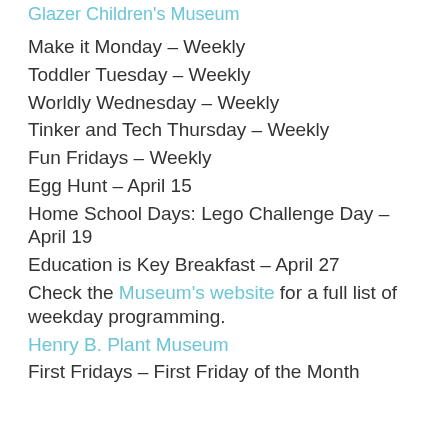Glazer Children's Museum
Make it Monday – Weekly
Toddler Tuesday – Weekly
Worldly Wednesday – Weekly
Tinker and Tech Thursday – Weekly
Fun Fridays – Weekly
Egg Hunt – April 15
Home School Days: Lego Challenge Day – April 19
Education is Key Breakfast – April 27
Check the Museum's website for a full list of weekday programming.
Henry B. Plant Museum
First Fridays – First Friday of the Month